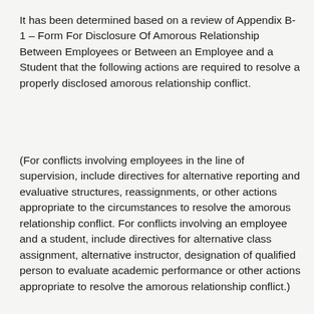It has been determined based on a review of Appendix B-1 – Form For Disclosure Of Amorous Relationship Between Employees or Between an Employee and a Student that the following actions are required to resolve a properly disclosed amorous relationship conflict.
(For conflicts involving employees in the line of supervision, include directives for alternative reporting and evaluative structures, reassignments, or other actions appropriate to the circumstances to resolve the amorous relationship conflict. For conflicts involving an employee and a student, include directives for alternative class assignment, alternative instructor, designation of qualified person to evaluate academic performance or other actions appropriate to resolve the amorous relationship conflict.)